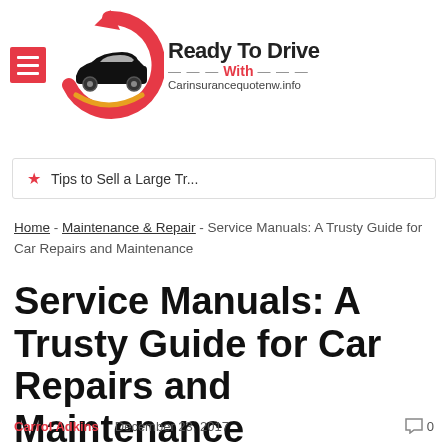[Figure (logo): Ready To Drive With Carinsurancequotenw.info logo with circular car graphic and red menu button]
Tips to Sell a Large Tr...
Home - Maintenance & Repair - Service Manuals: A Trusty Guide for Car Repairs and Maintenance
Service Manuals: A Trusty Guide for Car Repairs and Maintenance
Carrol Adkins   December 23, 2017   0